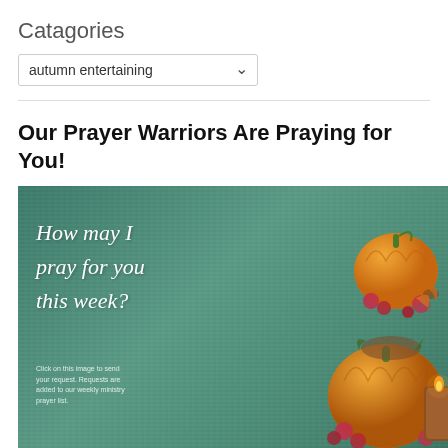Catagories
[Figure (screenshot): Dropdown select widget showing 'autumn entertaining' with a down chevron]
Our Prayer Warriors Are Praying for You!
[Figure (illustration): Teal/green textured background image with cursive white text reading 'How may I pray for you this week?' and smaller text 'Click on this image to send your request. Requests are added to our weekly ministry prayer list.' On the right side are stacked orange pumpkins with red flowers and a lit candle.]